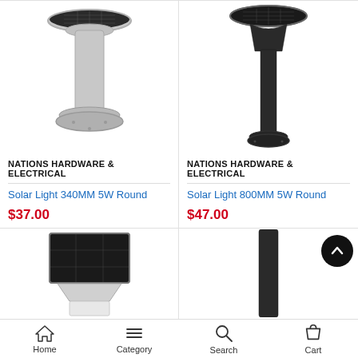[Figure (photo): Solar light 340MM 5W Round - gray bollard solar light with round solar panel on top]
NATIONS HARDWARE & ELECTRICAL
Solar Light 340MM 5W Round
$37.00
[Figure (photo): Solar light 800MM 5W Round - dark/black tall bollard solar light with round solar panel on top]
NATIONS HARDWARE & ELECTRICAL
Solar Light 800MM 5W Round
$47.00
[Figure (photo): Solar light with square solar panel on top, white diffuser base - partially visible]
[Figure (photo): Dark bollard post solar light - partially visible]
Home  Category  Search  Cart